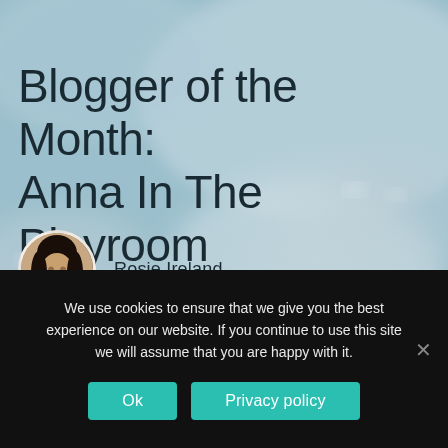[Figure (photo): Hero banner with blurred photo of children's faces in muted blue-grey tones serving as background for blog article header]
Blogger of the Month: Anna In The Playroom
Rosie Ireland
We use cookies to ensure that we give you the best experience on our website. If you continue to use this site we will assume that you are happy with it.
Ok
Privacy policy